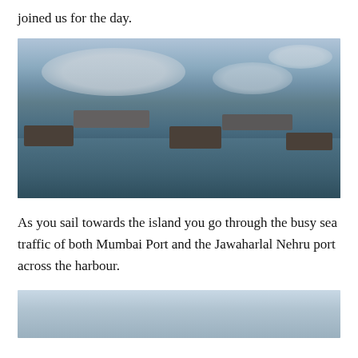joined us for the day.
[Figure (photo): Multiple boats and large cargo ships on the sea near Mumbai harbour, with a cloudy sky overhead.]
As you sail towards the island you go through the busy sea traffic of both Mumbai Port and the Jawaharlal Nehru port across the harbour.
[Figure (photo): Hazy sea horizon photograph, partially visible at bottom of page.]